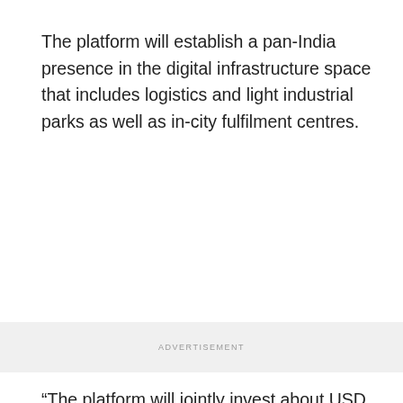The platform will establish a pan-India presence in the digital infrastructure space that includes logistics and light industrial parks as well as in-city fulfilment centres.
“The platform will jointly invest about USD 1 billion to create around 30 million sq ft of operating assets to serve India’s digital economy,” the company said in a statement.
Also Read